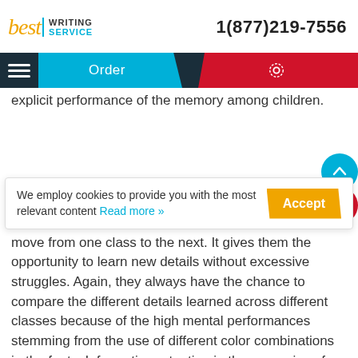best WRITING SERVICE | 1(877)219-7556
[Figure (screenshot): Navigation bar with hamburger menu, Order button (cyan), and red settings button]
explicit performance of the memory among children.
We employ cookies to provide you with the most relevant content Read more »
Better memory performance in terms of capturing and bringing out the exact content delivered in class is vital for the success of children in the future even as they move from one class to the next. It gives them the opportunity to learn new details without excessive struggles. Again, they always have the chance to compare the different details learned across different classes because of the high mental performances stemming from the use of different color combinations in the fonts. Information retention in the memories of children is always enhanced with this approach to the